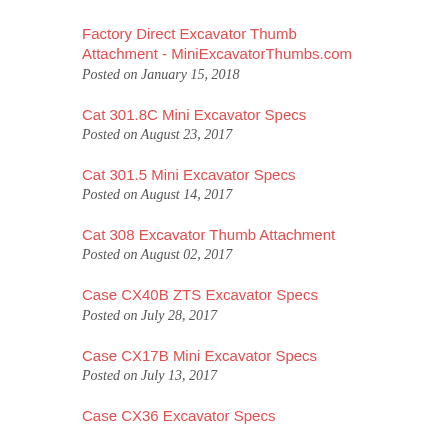Factory Direct Excavator Thumb Attachment - MiniExcavatorThumbs.com
Posted on January 15, 2018
Cat 301.8C Mini Excavator Specs
Posted on August 23, 2017
Cat 301.5 Mini Excavator Specs
Posted on August 14, 2017
Cat 308 Excavator Thumb Attachment
Posted on August 02, 2017
Case CX40B ZTS Excavator Specs
Posted on July 28, 2017
Case CX17B Mini Excavator Specs
Posted on July 13, 2017
Case CX36 Excavator Specs